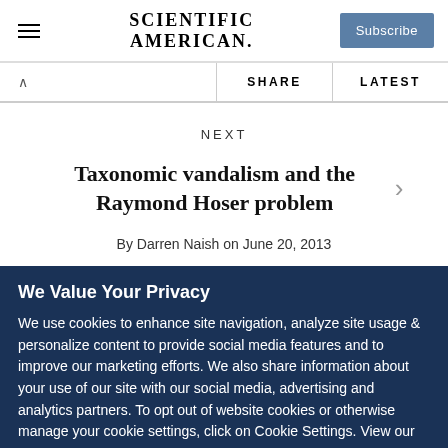SCIENTIFIC AMERICAN
SHARE   LATEST
NEXT
Taxonomic vandalism and the Raymond Hoser problem
By Darren Naish on June 20, 2013
We Value Your Privacy
We use cookies to enhance site navigation, analyze site usage & personalize content to provide social media features and to improve our marketing efforts. We also share information about your use of our site with our social media, advertising and analytics partners. To opt out of website cookies or otherwise manage your cookie settings, click on Cookie Settings. View our